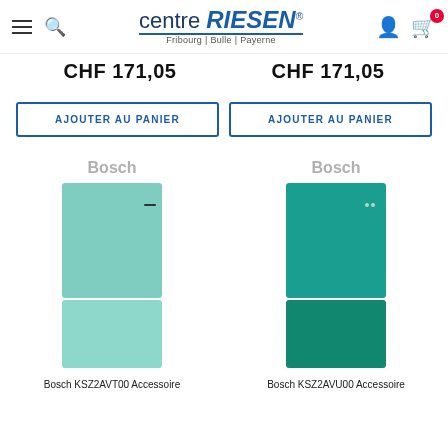centre RIESEN — Fribourg | Bulle | Payerne
CHF 171,05
CHF 171,05
AJOUTER AU PANIER
AJOUTER AU PANIER
[Figure (photo): Bosch refrigerator accessory panel in mint/light turquoise color (KSZ2AVT00)]
[Figure (photo): Bosch refrigerator accessory panel in dark teal/turquoise color (KSZ2AVU00)]
Bosch KSZ2AVT00 Accessoire
Bosch KSZ2AVU00 Accessoire